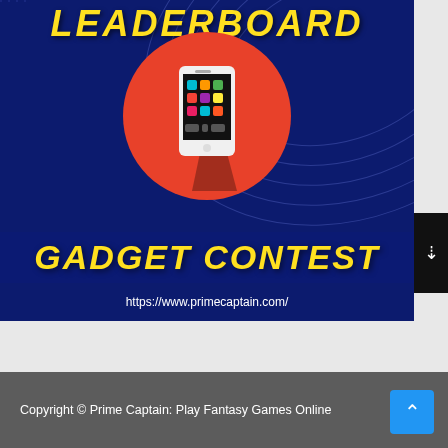[Figure (illustration): Dark navy blue promotional banner with yellow italic bold text 'LEADERBOARD' at top, a red circle with a smartphone icon in center, yellow bold italic 'GADGET CONTEST' text, and URL https://www.primecaptain.com/ at bottom]
Copyright © Prime Captain: Play Fantasy Games Online